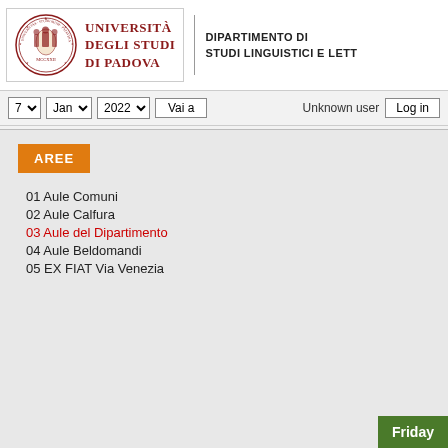[Figure (logo): Università degli Studi di Padova logo with university seal and name in red]
DIPARTIMENTO DI STUDI LINGUISTICI E LETT...
7  Jan  2022  Vai a    Unknown user  Log in
AREE
01 Aule Comuni
02 Aule Calfura
03 Aule del Dipartimento
04 Aule Beldomandi
05 EX FIAT Via Venezia
Friday